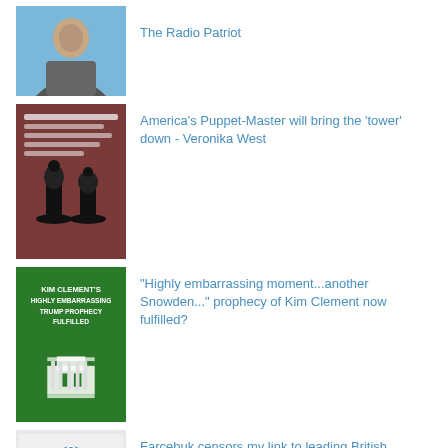[Figure (photo): Thumbnail photo of a person outdoors near water]
The Radio Patriot
[Figure (photo): Thumbnail image with chess pieces on red/dark background]
America's Puppet-Master will bring the 'tower' down - Veronika West
[Figure (photo): Green thumbnail with Kim Clement Trump prophecy text]
"Highly embarrassing moment...another Snowden..." prophecy of Kim Clement now fulfilled?
[Figure (photo): Farcebuk/Facebook screenshot thumbnail with globe logo]
Farcebuk censors my link to leading British newspaper - and locks me out again! (PPU #14)
COPYRIGHT